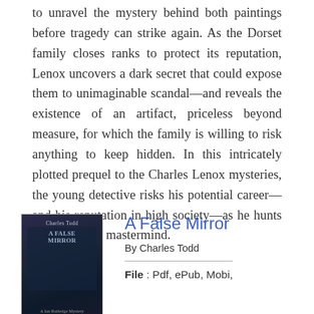to unravel the mystery behind both paintings before tragedy can strike again. As the Dorset family closes ranks to protect its reputation, Lenox uncovers a dark secret that could expose them to unimaginable scandal—and reveals the existence of an artifact, priceless beyond measure, for which the family is willing to risk anything to keep hidden. In this intricately plotted prequel to the Charles Lenox mysteries, the young detective risks his potential career—and his reputation in high society—as he hunts for a criminal mastermind.
[Figure (illustration): Book cover of 'A False Mirror' by Charles Todd, dark blue/navy toned cover with atmospheric imagery]
A False Mirror
By Charles Todd
File : Pdf, ePub, Mobi, Kindle...